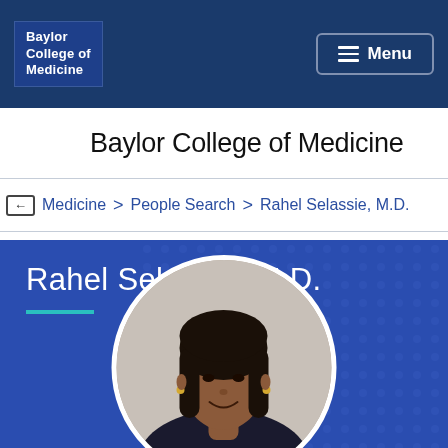Baylor College of Medicine
Baylor College of Medicine
Medicine > People Search > Rahel Selassie, M.D.
Rahel Selassie, M.D.
[Figure (photo): Circular portrait photo of Rahel Selassie, M.D., a woman with long dark hair, smiling, against an out-of-focus background, displayed on a blue patterned background.]